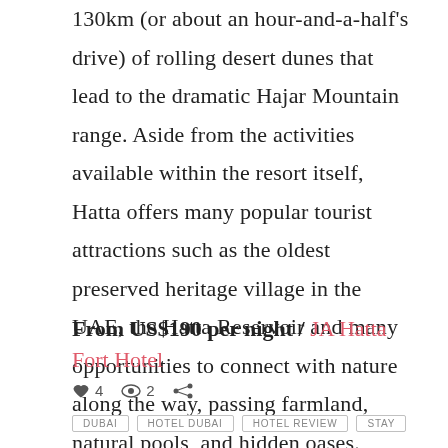130km (or about an hour-and-a-half's drive) of rolling desert dunes that lead to the dramatic Hajar Mountain range. Aside from the activities available within the resort itself, Hatta offers many popular tourist attractions such as the oldest preserved heritage village in the UAE, the Hatta Reservoir and many opportunities to connect with nature along the way, passing farmland, natural pools, and hidden oases.
From US$190 per night / JA Hatta Fort Hotel
♥ 4  👁 2  ⋙
DUBAI  HOTEL DUBAI  HOTEL REVIEW  STAY